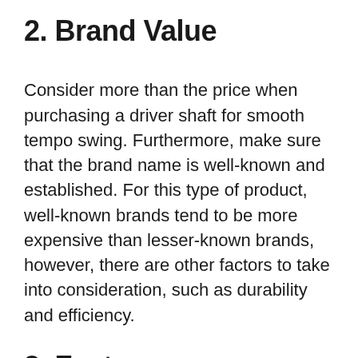2. Brand Value
Consider more than the price when purchasing a driver shaft for smooth tempo swing. Furthermore, make sure that the brand name is well-known and established. For this type of product, well-known brands tend to be more expensive than lesser-known brands, however, there are other factors to take into consideration, such as durability and efficiency.
3. Features
Consider whether a purchase is really necessary before making one. A more budget-friendly alternative may be more cost-effective if it is not for everyday use.